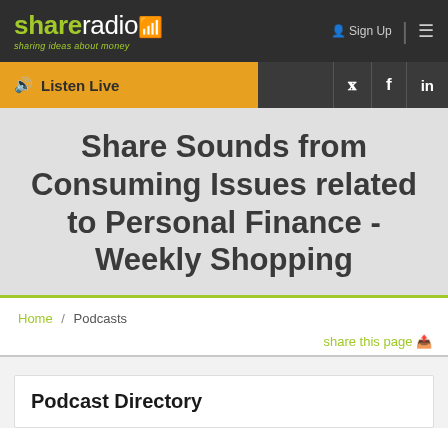shareradio – sharing ideas about money | Sign Up
Listen Live
Share Sounds from Consuming Issues related to Personal Finance - Weekly Shopping
Home / Podcasts
share this page
Podcast Directory